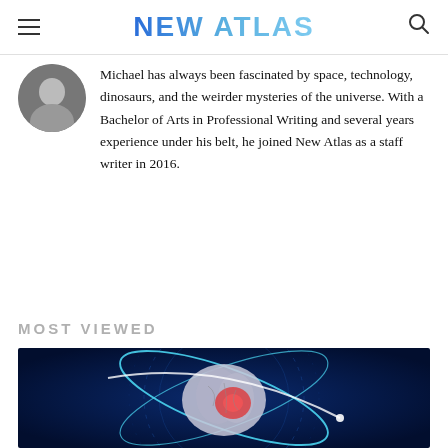NEW ATLAS
Michael has always been fascinated by space, technology, dinosaurs, and the weirder mysteries of the universe. With a Bachelor of Arts in Professional Writing and several years experience under his belt, he joined New Atlas as a staff writer in 2016.
MOST VIEWED
[Figure (photo): Illustration of a human brain with a glowing red area, surrounded by blue digital circuit rings and orbital arcs, on a dark blue background.]